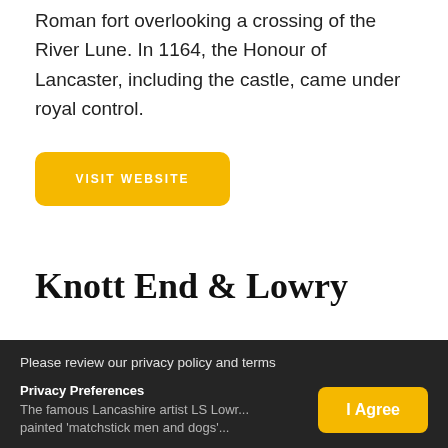Roman fort overlooking a crossing of the River Lune. In 1164, the Honour of Lancaster, including the castle, came under royal control.
VISIT WEBSITE
Knott End & Lowry
Please review our privacy policy and terms
The famous Lancashire artist LS Lowr… painted 'matchstick men and dogs'…
Privacy Preferences
I Agree